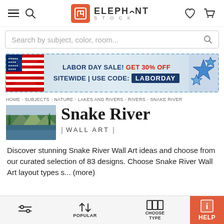ElephantStock navigation bar with hamburger menu, search icon, logo, heart and cart icons
Search by subject, color, room...
[Figure (infographic): Labor Day Sale banner with US flags. Text: LABOR DAY SALE! GET 30% OFF SITEWIDE | USE CODE: LABORDAY]
HOME > SUBJECTS > NATURE > LAKES AND RIVERS > RIVERS > SNAKE RIVER
Snake River
| WALL ART |
Discover stunning Snake River Wall Art ideas and choose from our curated selection of 83 designs. Choose Snake River Wall Art layout types s... (more)
Toolbar with filter, POPULAR sort, CHOOSE TYPE, and HELP buttons